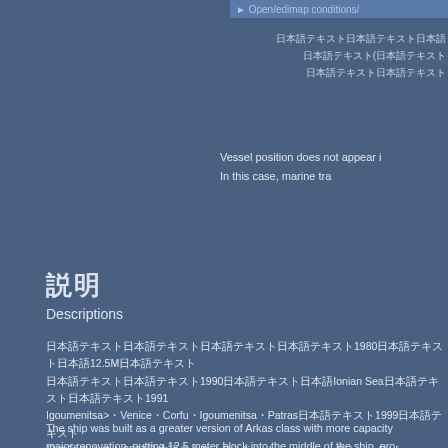► Open/edimap conditions/
日本語テキスト（省略）
日本語テキスト
日本語テキスト
Vessel position does not appear i
In this case, marine tra
説明
Descriptions
日本語テキスト...1980...12.5M...1990...Ionian Sea...1991 Igoumenitsa>Venice・Corfu・Igoumenitsa・Patras...1999...2007...Brindisi・Igoumenitsa・Patras・Corfu・Cephalonia
The ship was built as a greater version of Arkas class with more capacity major renovation, putting 12.5 meter block into the middle of the ship, pro Taiheiyo Ferry Ltd. and was then sold to Strintzis Lines in Greece. Later s to Erotokritos and put her on the international services, first on Ancona - F - Corfu - Igoumenitsa - Patras route. In 1999 the ownership of the Erotok remained in the service for Minoan Lines until 2002 after a rationalization Hellas Flying Dolphins. The company did not deploy her on their service